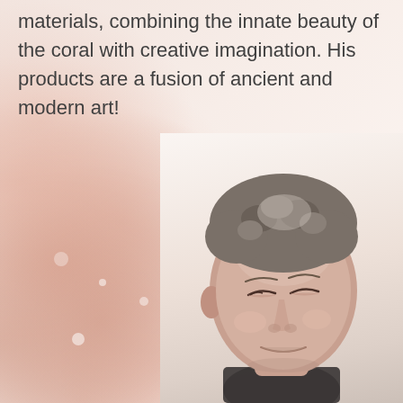materials, combining the innate beauty of the coral with creative imagination. His products are a fusion of ancient and modern art!
[Figure (photo): Background image of coral/hands in soft pink tones on the left side, and a portrait photo of a middle-aged man with curly salt-and-pepper hair, eyes downcast/closed, smiling gently, wearing a dark jacket, positioned on the right side of the page.]